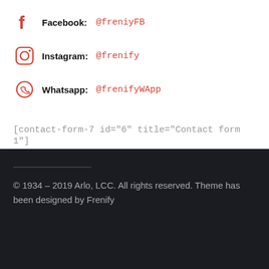Facebook: @freniyFB
Instagram: @frenify
Whatsapp: @frenifyWApp
[contact-form-7 id="6" title="Contact form 1"]
© 1934 – 2019 Arlo, LCC. All rights reserved. Theme has been designed by Frenify